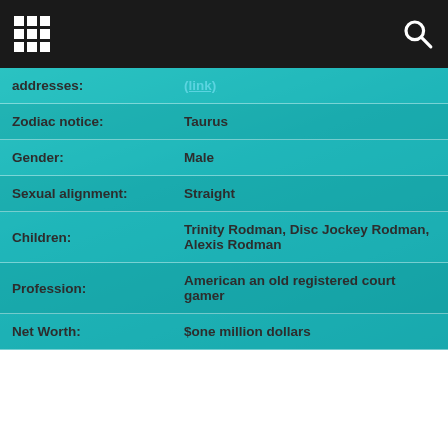[grid icon] [search icon]
| addresses: | (link text) |
| Zodiac notice: | Taurus |
| Gender: | Male |
| Sexual alignment: | Straight |
| Children: | Trinity Rodman, Disc Jockey Rodman, Alexis Rodman |
| Profession: | American an old registered court gamer |
| Net Worth: | $one million dollars |